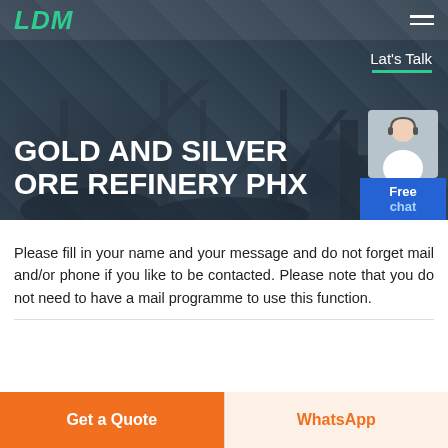[Figure (screenshot): Hero banner showing mining/refinery equipment silhouette with dark overlay background]
LDM
GOLD AND SILVER ORE REFINERY PHX
Lat's Talk
Please fill in your name and your message and do not forget mail and/or phone if you like to be contacted. Please note that you do not need to have a mail programme to use this function.
Get a Quote
WhatsApp